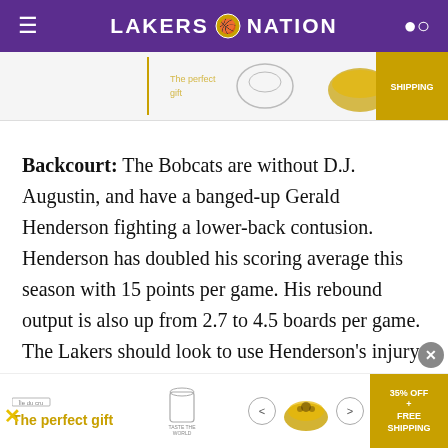LAKERS NATION
[Figure (screenshot): Top advertisement banner showing product images and SHIPPING badge]
Backcourt: The Bobcats are without D.J. Augustin, and have a banged-up Gerald Henderson fighting a lower-back contusion. Henderson has doubled his scoring average this season with 15 points per game. His rebound output is also up from 2.7 to 4.5 boards per game. The Lakers should look to use Henderson's injury to their advantage. He played two games ago against the 76ers and had a poor game, shooting 2-for-10, scoring seven points and
[Figure (screenshot): Bottom advertisement banner: The perfect gift with 35% OFF + FREE SHIPPING badge]